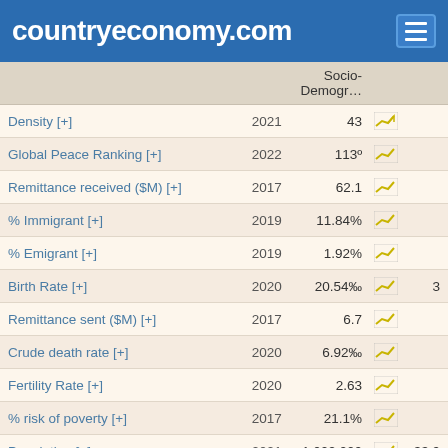countryeconomy.com
|  |  | Socio-Demogr… |  |  |
| --- | --- | --- | --- | --- |
| Density [+] | 2021 | 43 | 📈 |  |
| Global Peace Ranking [+] | 2022 | 113º | 📈 |  |
| Remittance received ($M) [+] | 2017 | 62.1 | 📈 |  |
| % Immigrant [+] | 2019 | 11.84% | 📈 |  |
| % Emigrant [+] | 2019 | 1.92% | 📈 |  |
| Birth Rate [+] | 2020 | 20.54‰ | 📈 | 3 |
| Remittance sent ($M) [+] | 2017 | 6.7 | 📈 |  |
| Crude death rate [+] | 2020 | 6.92‰ | 📈 |  |
| Fertility Rate [+] | 2020 | 2.63 | 📈 |  |
| % risk of poverty [+] | 2017 | 21.1% | 📈 |  |
| Population [+] | 2021 | 1,002,000 | 📈 | 33,9 |
| Immigrant stock [+] | 2019 | 115,341 | 📈 | 6 |
| Emigrant stock [+] | 2019 | 18,668 | 📈 | 6 |
| HDI [+] | 2019 | 0.524 | 📈 |  |